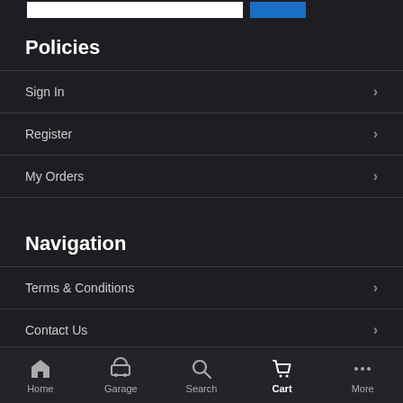Policies
Sign In
Register
My Orders
Navigation
Terms & Conditions
Contact Us
Payment & Billing
Home | Garage | Search | Cart | More